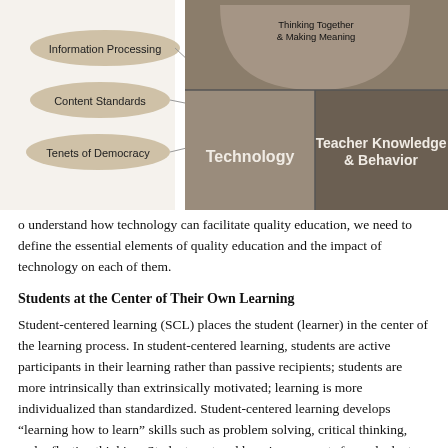[Figure (infographic): Partial view of an educational framework diagram showing labels: 'Information Processing', 'Content Standards', 'Tenets of Democracy' on the left side as leaf/banner shapes, and on the right a circular/arc diagram with sections labeled 'Technology', 'Teacher Knowledge & Behavior', and 'Thinking Together & Making Meaning' at the top.]
o understand how technology can facilitate quality education, we need to define the essential elements of quality education and the impact of technology on each of them.
Students at the Center of Their Own Learning
Student-centered learning (SCL) places the student (learner) in the center of the learning process. In student-centered learning, students are active participants in their learning rather than passive recipients; students are more intrinsically than extrinsically motivated; learning is more individualized than standardized. Student-centered learning develops “learning how to learn” skills such as problem solving, critical thinking, and reflective thinking. Student-centered learning accounts for and adapts to different learning styles of students. Student-centered learning is distinguished from teacher-centered learning or instruction, which is characterized by the transmission of information from a knowledge expert (teacher) to a relatively passive recipient (student/learner) or consumer. When we put students at the center of their learning, we ask them to assume more responsibility for their own learning.